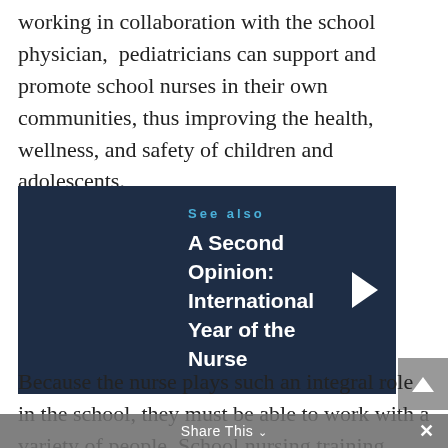working in collaboration with the school physician,  pediatricians can support and promote school nurses in their own communities, thus improving the health, wellness, and safety of children and adolescents.
See also
A Second Opinion: International Year of the Nurse
Because the nurse plays such an integral role in the school, they must be able to work with a variety of people. School nursing training focuses on improving communication skills, developing organizational skills, performing
Share This